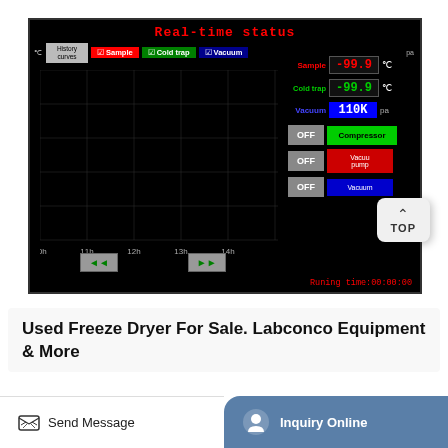[Figure (screenshot): Real-time status screen of a freeze dryer control panel showing temperature and vacuum monitoring. Displays Sample: -99.9°C, Cold trap: -99.9°C, Vacuum: 110K Pa. Chart area with time axis from 10h to 14h. Control buttons: Compressor (OFF/green), Vacuum pump (OFF/red), Vacuum (OFF/blue). Running time: 00:00:00.]
Used Freeze Dryer For Sale. Labconco Equipment & More
Send Message
Inquiry Online